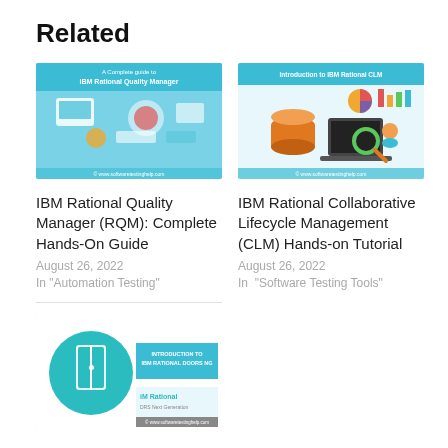Related
[Figure (illustration): Thumbnail image for IBM Rational Quality Manager article showing tech icons on blue background with text 'A Complete guide to IBM Rational Quality Manager']
IBM Rational Quality Manager (RQM): Complete Hands-On Guide
August 26, 2022
In "Automation Testing"
[Figure (illustration): Thumbnail image for IBM Rational CLM article showing database and laptop icons on blue/teal background with text 'Introduction to IBM Rational CLM']
IBM Rational Collaborative Lifecycle Management (CLM) Hands-on Tutorial
August 26, 2022
In "Software Testing Tools"
[Figure (illustration): Thumbnail image for IBM Rational DOORS NG article showing a door icon and blue banner with text 'INTRODUCTION TO IBM RATIONAL DOORS NG' and 'iM Rational DRS Next Generation']